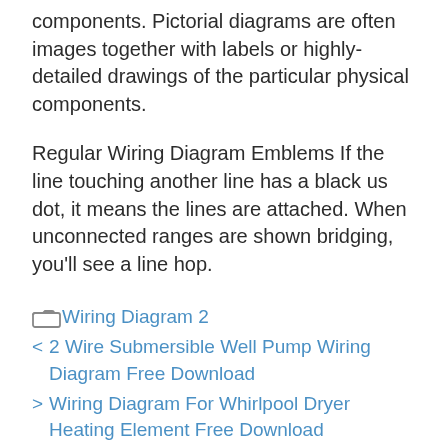components. Pictorial diagrams are often images together with labels or highly-detailed drawings of the particular physical components.
Regular Wiring Diagram Emblems If the line touching another line has a black us dot, it means the lines are attached. When unconnected ranges are shown bridging, you'll see a line hop.
Wiring Diagram 2
2 Wire Submersible Well Pump Wiring Diagram Free Download
Wiring Diagram For Whirlpool Dryer Heating Element Free Download